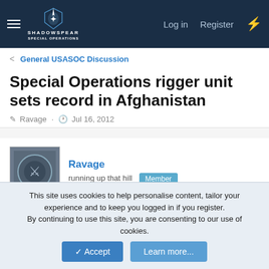[Figure (screenshot): ShadowSpear Special Operations forum navigation bar with logo, hamburger menu, Log in, Register, and lightning bolt icon]
< General USASOC Discussion
Special Operations rigger unit sets record in Afghanistan
Ravage · Jul 16, 2012
Ravage
running up that hill  Member
Jul 16, 2012  #1
http://www.soc.mil/UNS/Releases/2012/July/120716-01.html
This site uses cookies to help personalise content, tailor your experience and to keep you logged in if you register.
By continuing to use this site, you are consenting to our use of cookies.